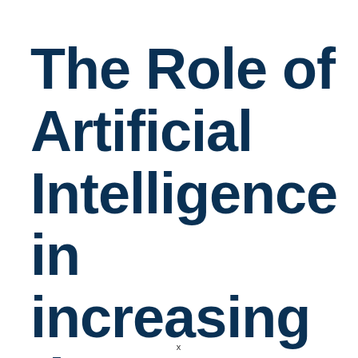The Role of Artificial Intelligence in increasing the efficiency of
x